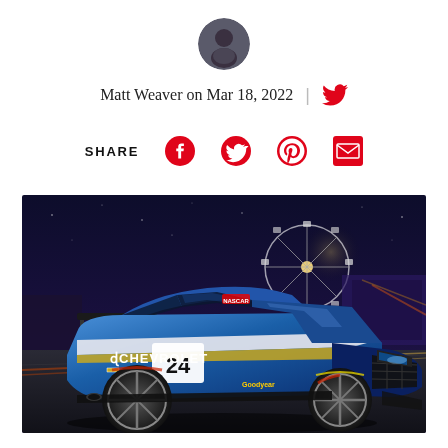[Figure (photo): Round avatar profile photo of Matt Weaver]
Matt Weaver on Mar 18, 2022  |  [Twitter bird icon]
SHARE  [Facebook icon]  [Twitter icon]  [Pinterest icon]  [Email icon]
[Figure (photo): A blue Chevrolet Camaro NASCAR race car with number 24, gold accents, Goodyear tires, parked on a track at night with a ferris wheel lit up in the background and grandstands visible.]